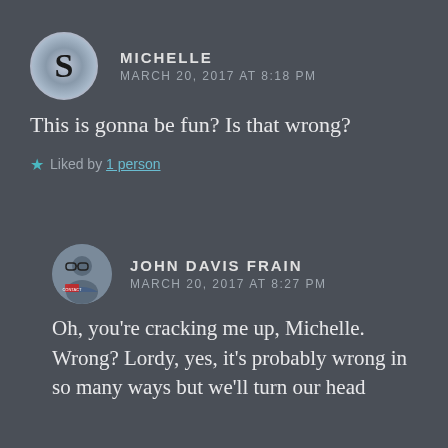MICHELLE
MARCH 20, 2017 AT 8:18 PM
This is gonna be fun? Is that wrong?
Liked by 1 person
JOHN DAVIS FRAIN
MARCH 20, 2017 AT 8:27 PM
Oh, you're cracking me up, Michelle. Wrong? Lordy, yes, it's probably wrong in so many ways but we'll turn our head